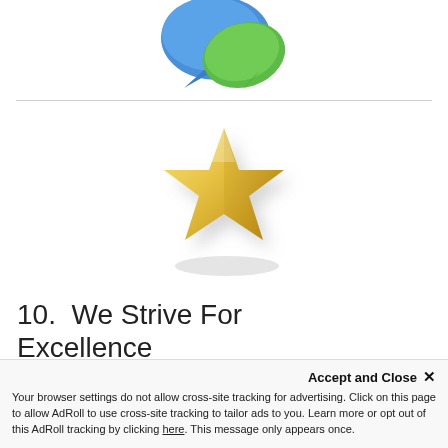[Figure (illustration): Blue and green speech bubble / chat icon logo at the top center of the page, partially cropped]
[Figure (illustration): 3D golden/yellow star icon centered in the middle section of the page]
10.  We Strive For Excellence
We strive for excellence every time! We listen to your needs and your feedback to set a strong all...
Accept and Close ×
Your browser settings do not allow cross-site tracking for advertising. Click on this page to allow AdRoll to use cross-site tracking to tailor ads to you. Learn more or opt out of this AdRoll tracking by clicking here. This message only appears once.